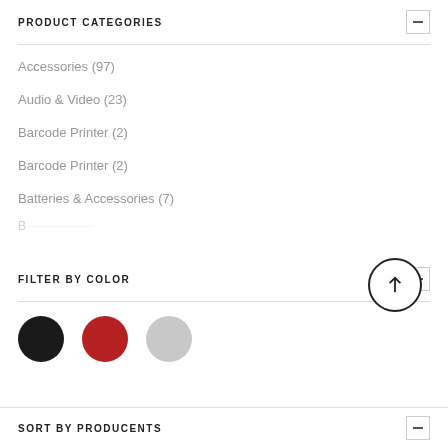PRODUCT CATEGORIES
Accessories  (97)
Audio & Video  (23)
Barcode Printer  (2)
Barcode Printer  (2)
Batteries & Accessories  (7)
FILTER BY COLOR
[Figure (infographic): Three color filter circles: black, red, and light gray]
SORT BY PRODUCENTS